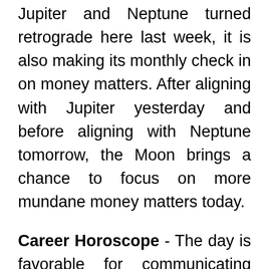Jupiter and Neptune turned retrograde here last week, it is also making its monthly check in on money matters. After aligning with Jupiter yesterday and before aligning with Neptune tomorrow, the Moon brings a chance to focus on more mundane money matters today.
Career Horoscope - The day is favorable for communicating with colleagues and forging new contacts. Try tomorrow not to break away from the team: participate in discussions, listen to the suggestions of other employees. Leo horoscope career recommends competently approach to planning your day. Do not seek to prove your professional competence to others, it is quite sufficient to take responsibility for work. Gemini